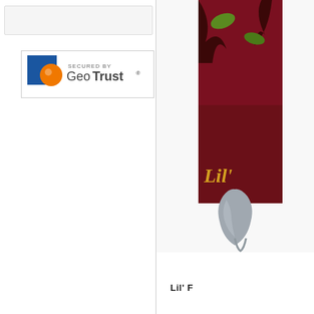[Figure (logo): GeoTrust Secured By badge with blue square, orange circle, and text 'SECURED BY GeoTrust']
[Figure (photo): Partial product photo showing a colorful illustrated book or box with 'Lil'' text visible, along with a grey guitar pick-shaped object in front, on white background]
Lil' F